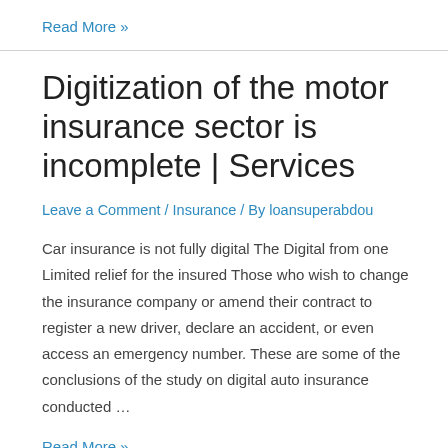Read More »
Digitization of the motor insurance sector is incomplete | Services
Leave a Comment / Insurance / By loansuperabdou
Car insurance is not fully digital The Digital from one Limited relief for the insured Those who wish to change the insurance company or amend their contract to register a new driver, declare an accident, or even access an emergency number. These are some of the conclusions of the study on digital auto insurance conducted …
Read More »